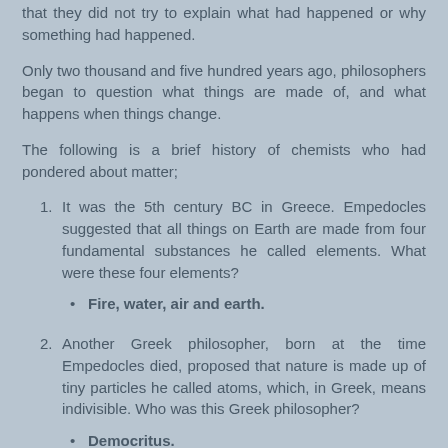that they did not try to explain what had happened or why something had happened.
Only two thousand and five hundred years ago, philosophers began to question what things are made of, and what happens when things change.
The following is a brief history of chemists who had pondered about matter;
1. It was the 5th century BC in Greece. Empedocles suggested that all things on Earth are made from four fundamental substances he called elements. What were these four elements?
Fire, water, air and earth.
2. Another Greek philosopher, born at the time Empedocles died, proposed that nature is made up of tiny particles he called atoms, which, in Greek, means indivisible. Who was this Greek philosopher?
Democritus.